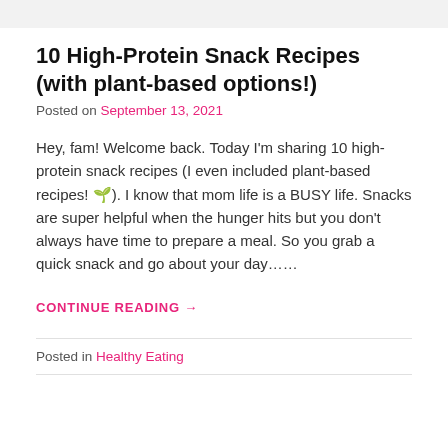10 High-Protein Snack Recipes (with plant-based options!)
Posted on September 13, 2021
Hey, fam! Welcome back. Today I'm sharing 10 high-protein snack recipes (I even included plant-based recipes! 🌱). I know that mom life is a BUSY life. Snacks are super helpful when the hunger hits but you don't always have time to prepare a meal. So you grab a quick snack and go about your day……
CONTINUE READING →
Posted in Healthy Eating